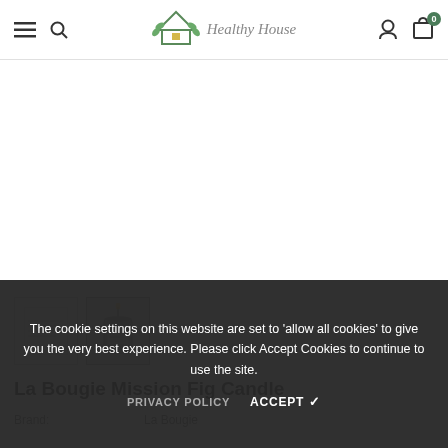Healthy House — navigation bar with hamburger menu, search, logo, user icon, cart (0)
[Figure (photo): Product thumbnails: two images of La Bougie Mission Fig Candle — one showing label/box, one showing grey candle vessel]
La Bougie Mission Fig Candle
Brand: La Bougie
Product:
Availability: In stock
€26,50
The cookie settings on this website are set to 'allow all cookies' to give you the very best experience. Please click Accept Cookies to continue to use the site.
PRIVACY POLICY   ACCEPT ✓